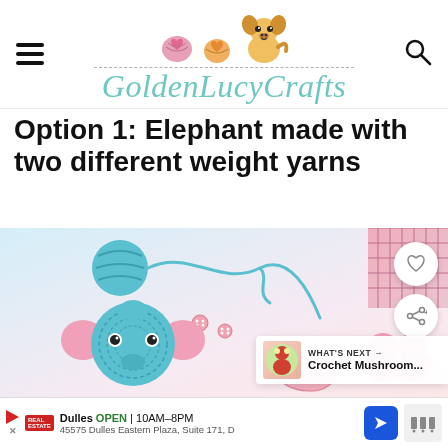GoldenLucyCrafts
Option 1: Elephant made with two different weight yarns
[Figure (photo): Crochet elephant applique made with blue and pink yarn, buttons scattered around, with yarn balls in background]
WHAT'S NEXT → Crochet Mushroom...
Dulles OPEN | 10AM–8PM 45575 Dulles Eastern Plaza, Suite 171, D